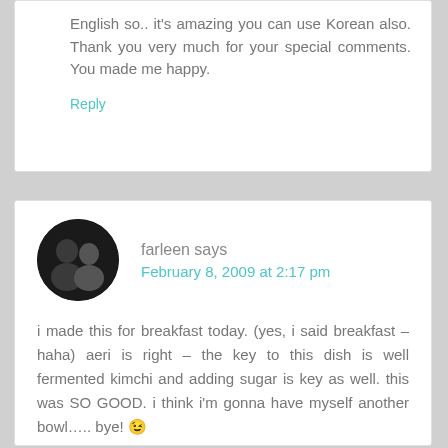English so.. it's amazing you can use Korean also. Thank you very much for your special comments. You made me happy.
Reply
farleen says
February 8, 2009 at 2:17 pm
i made this for breakfast today. (yes, i said breakfast – haha) aeri is right – the key to this dish is well fermented kimchi and adding sugar is key as well. this was SO GOOD. i think i'm gonna have myself another bowl….. bye! 😉